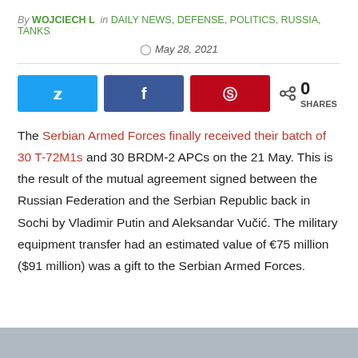By WOJCIECH L  in DAILY NEWS, DEFENSE, POLITICS, RUSSIA, TANKS
May 28, 2021
[Figure (infographic): Social share buttons: Twitter (blue), Facebook (dark blue), Pinterest (red), and share count showing 0 SHARES]
The Serbian Armed Forces finally received their batch of 30 T-72M1s and 30 BRDM-2 APCs on the 21 May. This is the result of the mutual agreement signed between the Russian Federation and the Serbian Republic back in Sochi by Vladimir Putin and Aleksandar Vučić. The military equipment transfer had an estimated value of €75 million ($91 million) was a gift to the Serbian Armed Forces.
[Figure (photo): Partial image visible at the bottom of the page (cropped)]